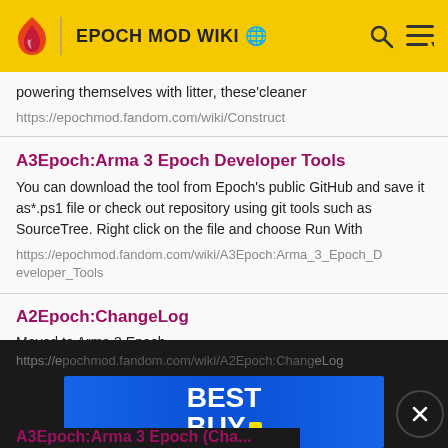EPOCH MOD WIKI
powering themselves with litter, these'cleaner
https://epochmod.fandom.com/wiki/Construct
A3Epoch:Arma 3 Epoch Developer Tools
You can download the tool from Epoch's public GitHub and save it as*.ps1 file or check out repository using git tools such as SourceTree. Right click on the file and choose Run With
https://epochmod.fandom.com/wiki/A3Epoch:Arma_3_Epoch_Developer_Tools
A2Epoch:ChangeLog
Moved to Arma 3 Epoch.
http://epochmod.gamepedia.com/ChangeLog
[Figure (screenshot): Best Buy advertisement banner overlay]
A3Epoch:Arma 3 Epoch (changelog...)